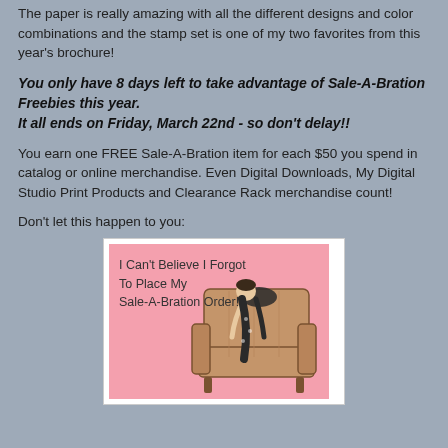The paper is really amazing with all the different designs and color combinations and the stamp set is one of my two favorites from this year's brochure!
You only have 8 days left to take advantage of Sale-A-Bration Freebies this year.
It all ends on Friday, March 22nd - so don't delay!!
You earn one FREE Sale-A-Bration item for each $50 you spend in catalog or online merchandise. Even Digital Downloads, My Digital Studio Print Products and Clearance Rack merchandise count!
Don't let this happen to you:
[Figure (illustration): Pink ecard-style image with text 'I Can't Believe I Forgot To Place My Sale-A-Bration Order!' with a vintage illustration of a person slumped over the back of an armchair in distress.]